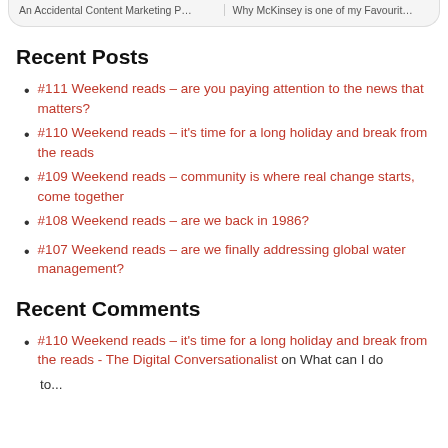An Accidental Content Marketing P... | Why McKinsey is one of my Favourit...
Recent Posts
#111 Weekend reads – are you paying attention to the news that matters?
#110 Weekend reads – it's time for a long holiday and break from the reads
#109 Weekend reads – community is where real change starts, come together
#108 Weekend reads – are we back in 1986?
#107 Weekend reads – are we finally addressing global water management?
Recent Comments
#110 Weekend reads – it's time for a long holiday and break from the reads - The Digital Conversationalist on What can I do to...